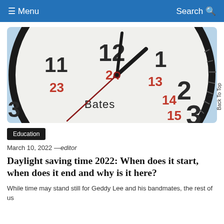≡ Menu   Search 🔍
[Figure (photo): Close-up photo of a clock face showing numbers 11, 12, 1, 2, 3 in black and 23, 24, 13, 14, 15 in red, with clock hands pointing near 12 and 6. The word 'Bates' appears on the clock face. Background is light blue/white.]
Education
March 10, 2022 —editor
Daylight saving time 2022: When does it start, when does it end and why is it here?
While time may stand still for Geddy Lee and his bandmates, the rest of us